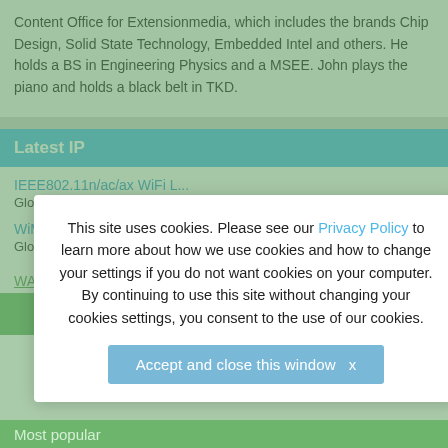Content Office for Extensionmedia, which includes the brands Chip Design, Solid State Technology, Embedded Intel and others. He holds a BS in Engineering Physics and a MSEE. John plays the piano and holds a black belt in TKD.
Latest IP
IEEE802.11n/ac/ax WiFi L...
Global IP Core
WiMAX IEEE802.16e Transceiver &#...
Global IP Core
WAVE624 – AV1 Single-cor...
This site uses cookies. Please see our Privacy Policy to learn more about how we use cookies and how to change your settings if you do not want cookies on your computer. By continuing to use this site without changing your cookies settings, you consent to the use of our cookies.
Accept and close this window  X
Most popular